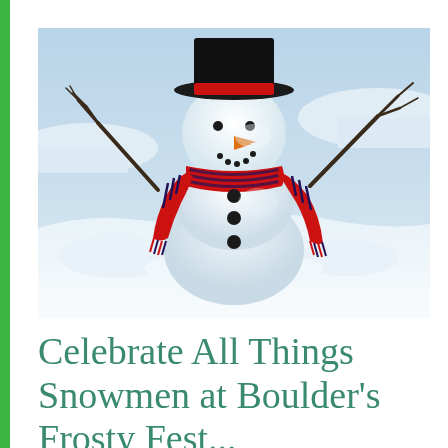[Figure (photo): A cheerful snowman wearing a black top hat with a red band and a red and navy striped scarf with fringe. The snowman has stick arms raised upward, a carrot nose, button eyes, and button accents on its body. The background shows a snowy winter landscape.]
Celebrate All Things Snowmen at Boulder's Frosty Fest...